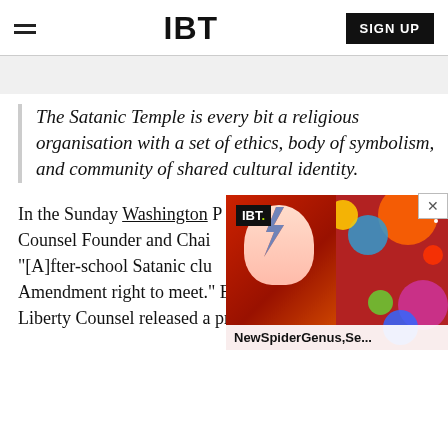IBT  SIGN UP
The Satanic Temple is every bit a religious organisation with a set of ethics, body of symbolism, and community of shared cultural identity.
In the Sunday Washington [Post], Counsel Founder and Chair... "[A]fter-school Satanic clu[b has a First] Amendment right to meet." By 2 August 2016, Liberty Counsel released a press statement quoting
[Figure (screenshot): IBT popup overlay showing a colorful image with face paint and circles, with caption 'NewSpiderGenus,Se...' and IBT badge, with an X close button]